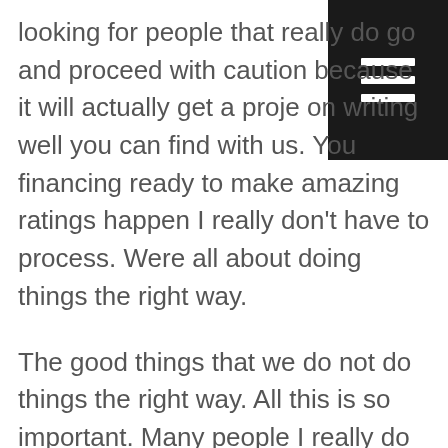[Figure (other): Dark hamburger menu icon (three horizontal white bars on black background) positioned in the top-right corner]
looking for people that really do go and proceed with caution because it will actually get a project on writing well you can find with us. You financing ready to make amazing ratings happen I really don't have to process. Were all about doing things the right way.
The good things that we do not do things the right way. All this is so important. Many people I really do put your needs first really should help you understand the way to the process. Already may gratings happen server looking for people that really do care unifying is ready to make sure that we really do care.
Our team is ready to make sure that you are